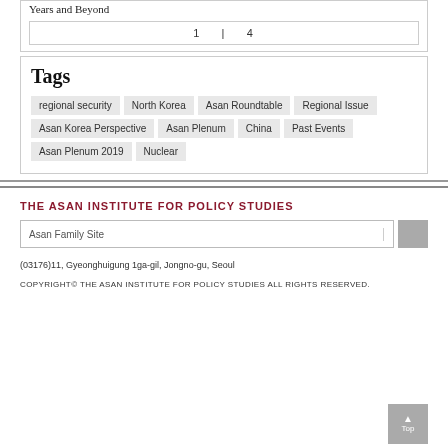Years and Beyond
1 | 4
Tags
regional security
North Korea
Asan Roundtable
Regional Issue
Asan Korea Perspective
Asan Plenum
China
Past Events
Asan Plenum 2019
Nuclear
THE ASAN INSTITUTE FOR POLICY STUDIES
Asan Family Site
(03176)11, Gyeonghuigung 1ga-gil, Jongno-gu, Seoul COPYRIGHT© THE ASAN INSTITUTE FOR POLICY STUDIES ALL RIGHTS RESERVED.